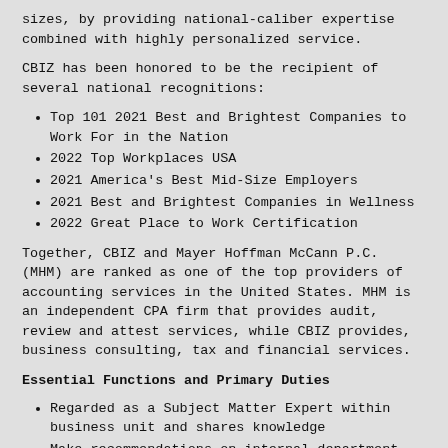sizes, by providing national-caliber expertise combined with highly personalized service.
CBIZ has been honored to be the recipient of several national recognitions:
Top 101 2021 Best and Brightest Companies to Work For in the Nation
2022 Top Workplaces USA
2021 America's Best Mid-Size Employers
2021 Best and Brightest Companies in Wellness
2022 Great Place to Work Certification
Together, CBIZ and Mayer Hoffman McCann P.C. (MHM) are ranked as one of the top providers of accounting services in the United States. MHM is an independent CPA firm that provides audit, review and attest services, while CBIZ provides, business consulting, tax and financial services.
Essential Functions and Primary Duties
Regarded as a Subject Matter Expert within business unit and shares knowledge
Make recommendations on internal department procedures